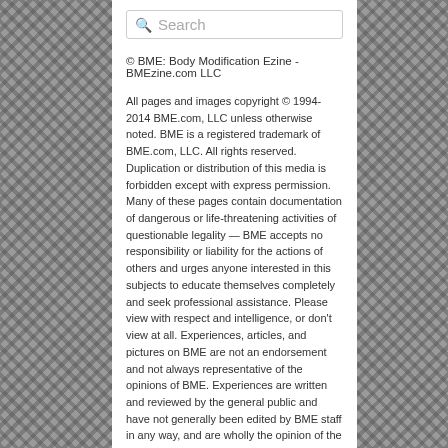[Figure (screenshot): Search box with magnifying glass icon and placeholder text 'Search']
© BME: Body Modification Ezine - BMEzine.com LLC
All pages and images copyright © 1994-2014 BME.com, LLC unless otherwise noted. BME is a registered trademark of BME.com, LLC. All rights reserved. Duplication or distribution of this media is forbidden except with express permission. Many of these pages contain documentation of dangerous or life-threatening activities of questionable legality — BME accepts no responsibility or liability for the actions of others and urges anyone interested in this subjects to educate themselves completely and seek professional assistance. Please view with respect and intelligence, or don't view at all. Experiences, articles, and pictures on BME are not an endorsement and not always representative of the opinions of BME. Experiences are written and reviewed by the general public and have not generally been edited by BME staff in any way, and are wholly the opinion of the authors.
BME/NEWS ARCHIVES